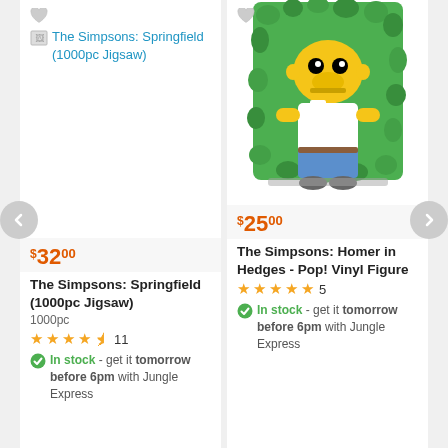[Figure (screenshot): Product listing page showing two Simpsons items side by side with navigation arrows]
[broken image] The Simpsons: Springfield (1000pc Jigsaw)
$32.00
The Simpsons: Springfield (1000pc Jigsaw)
1000pc
★★★★½ 11
✓ In stock - get it tomorrow before 6pm with Jungle Express
[Figure (photo): Homer Simpson Funko Pop Vinyl Figure in Hedges - Homer character in white shirt and blue pants backing into green hedge]
$25.00
The Simpsons: Homer in Hedges - Pop! Vinyl Figure
★★★★★ 5
✓ In stock - get it tomorrow before 6pm with Jungle Express